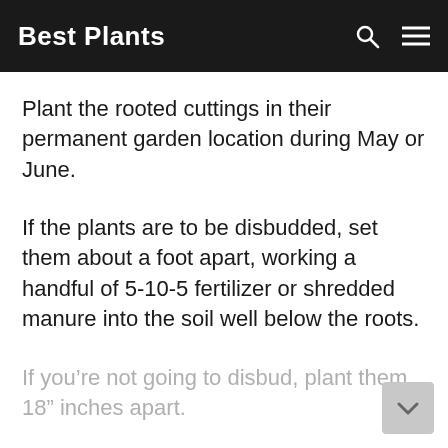Best Plants
Plant the rooted cuttings in their permanent garden location during May or June.
If the plants are to be disbudded, set them about a foot apart, working a handful of 5-10-5 fertilizer or shredded manure into the soil well below the roots.
If you’re not going to disbud, plant them 18” inches apart.